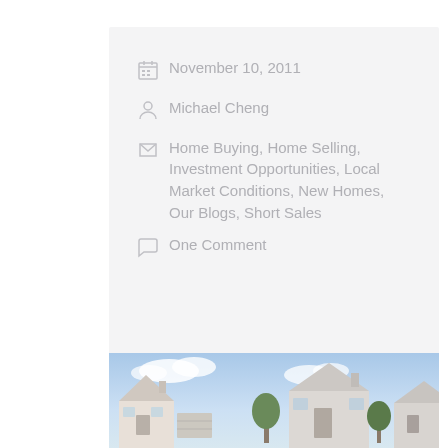November 10, 2011
Michael Cheng
Home Buying, Home Selling, Investment Opportunities, Local Market Conditions, New Homes, Our Blogs, Short Sales
One Comment
[Figure (photo): Photo of suburban houses against a blue sky with white clouds]